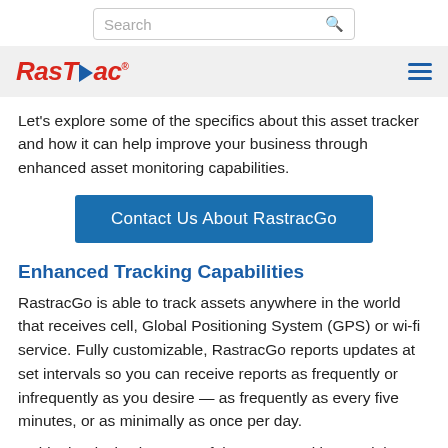Search
[Figure (logo): RasTrac logo with red italic text and blue arrow, plus hamburger menu icon]
Let's explore some of the specifics about this asset tracker and how it can help improve your business through enhanced asset monitoring capabilities.
Contact Us About RastracGo
Enhanced Tracking Capabilities
RastracGo is able to track assets anywhere in the world that receives cell, Global Positioning System (GPS) or wi-fi service. Fully customizable, RastracGo reports updates at set intervals so you can receive reports as frequently or infrequently as you desire — as frequently as every five minutes, or as minimally as once per day.
Inside the device is a powerful GT-200 tracking module